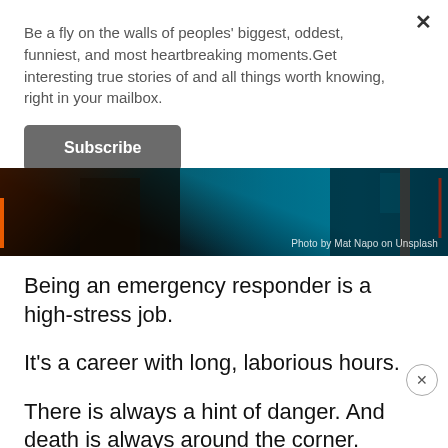Be a fly on the walls of peoples' biggest, oddest, funniest, and most heartbreaking moments.Get interesting true stories of and all things worth knowing, right in your mailbox.
Subscribe
[Figure (photo): Dark moody photo strip showing emergency responder / nighttime scene with orange and cyan/blue lighting. Credit: Photo by Mat Napo on Unsplash]
Being an emergency responder is a high-stress job.
It's a career with long, laborious hours.
There is always a hint of danger. And death is always around the corner.
So we as a society could try to help these